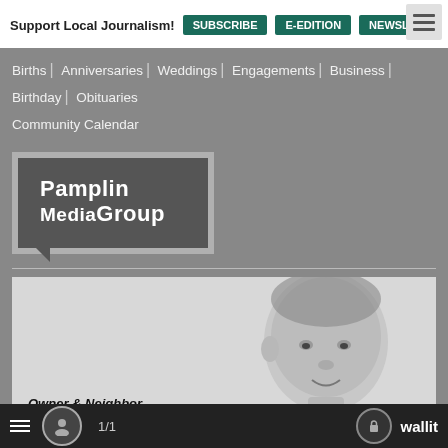Support Local Journalism! SUBSCRIBE | E-EDITION | NEWSLETTER
Births | Anniversaries | Weddings | Engagements | Business | Birthday | Obituaries
Community Calendar
[Figure (logo): Pamplin MediaGroup logo — white text on dark grey speech-bubble shape with light grey border]
[Figure (illustration): Black and white stipple illustration portrait of Dr. Robert B. Pamplin, Jr. with caption 'Owner & Neighbor Dr. Robert B. Pamplin, Jr.']
Owner & Neighbor Dr. Robert B. Pamplin, Jr.
1/1  wallit